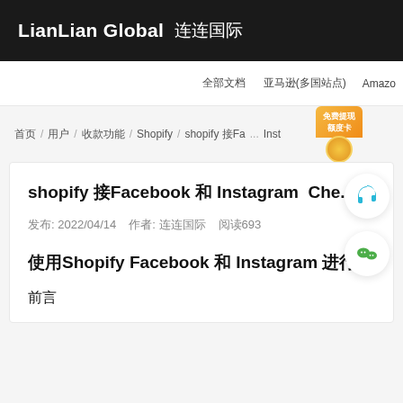LianLian Global 连连国际
全部文档　亚马逊(多国站点)　Amazo
首页 / 用户 / 收款功能 / Shopify / shopify 接Fa... Inst...
shopify 接Facebook 和 Instagram Che...
发布: 2022/04/14  作者: 连连国际  阅读693
使用Shopify Facebook 和 Instagram 进行 Check...
前言